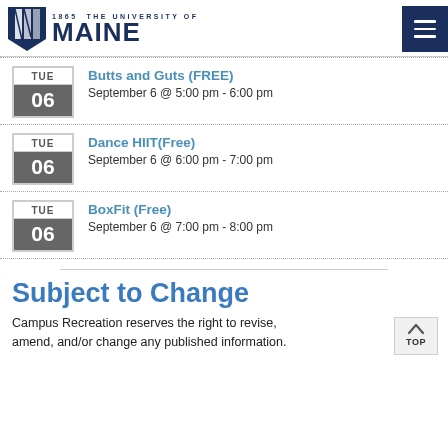1865 THE UNIVERSITY OF MAINE
Butts and Guts (FREE) — September 6 @ 5:00 pm - 6:00 pm
Dance HIIT(Free) — September 6 @ 6:00 pm - 7:00 pm
BoxFit (Free) — September 6 @ 7:00 pm - 8:00 pm
Subject to Change
Campus Recreation reserves the right to revise, amend, and/or change any published information.